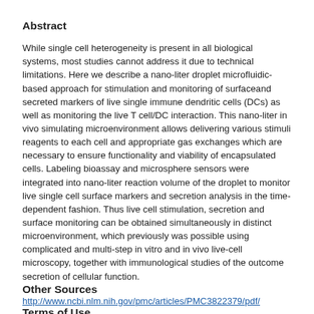Abstract
While single cell heterogeneity is present in all biological systems, most studies cannot address it due to technical limitations. Here we describe a nano-liter droplet microfluidic-based approach for stimulation and monitoring of surfaceand secreted markers of live single immune dendritic cells (DCs) as well as monitoring the live T cell/DC interaction. This nano-liter in vivo simulating microenvironment allows delivering various stimuli reagents to each cell and appropriate gas exchanges which are necessary to ensure functionality and viability of encapsulated cells. Labeling bioassay and microsphere sensors were integrated into nano-liter reaction volume of the droplet to monitor live single cell surface markers and secretion analysis in the time-dependent fashion. Thus live cell stimulation, secretion and surface monitoring can be obtained simultaneously in distinct microenvironment, which previously was possible using complicated and multi-step in vitro and in vivo live-cell microscopy, together with immunological studies of the outcome secretion of cellular function.
Other Sources
http://www.ncbi.nlm.nih.gov/pmc/articles/PMC3822379/pdf/
Terms of Use